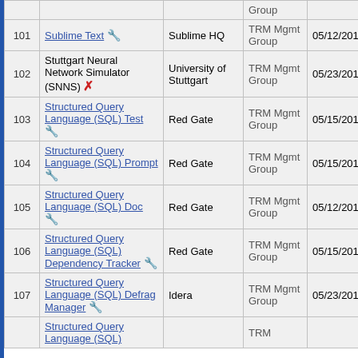| # | Name | Vendor | Group | Date | Action |
| --- | --- | --- | --- | --- | --- |
|  |  |  | Group |  |  |
| 101 | Sublime Text 🔧 | Sublime HQ | TRM Mgmt Group | 05/12/2019 | Updat… |
| 102 | Stuttgart Neural Network Simulator (SNNS) ✗ | University of Stuttgart | TRM Mgmt Group | 05/23/2019 | Updat… |
| 103 | Structured Query Language (SQL) Test 🔧 | Red Gate | TRM Mgmt Group | 05/15/2019 | Updat… |
| 104 | Structured Query Language (SQL) Prompt 🔧 | Red Gate | TRM Mgmt Group | 05/15/2019 | Updat… |
| 105 | Structured Query Language (SQL) Doc 🔧 | Red Gate | TRM Mgmt Group | 05/12/2019 | Updat… |
| 106 | Structured Query Language (SQL) Dependency Tracker 🔧 | Red Gate | TRM Mgmt Group | 05/15/2019 | Updat… |
| 107 | Structured Query Language (SQL) Defrag Manager 🔧 | Idera | TRM Mgmt Group | 05/23/2019 | Updat… |
|  | Structured Query Language (SQL)… |  | TRM… |  |  |